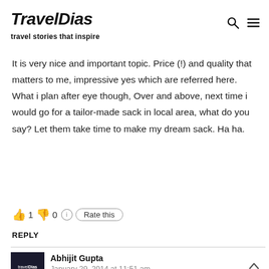TravelDias — travel stories that inspire
It is very nice and important topic. Price (!) and quality that matters to me, impressive yes which are referred here. What i plan after eye though, Over and above, next time i would go for a tailor-made sack in local area, what do you say? Let them take time to make my dream sack. Ha ha.
👍 1 👎 0 ℹ Rate this
REPLY
Abhijit Gupta — January 29, 2014 at 11:51 am
Absolutely right..! You can always get the best